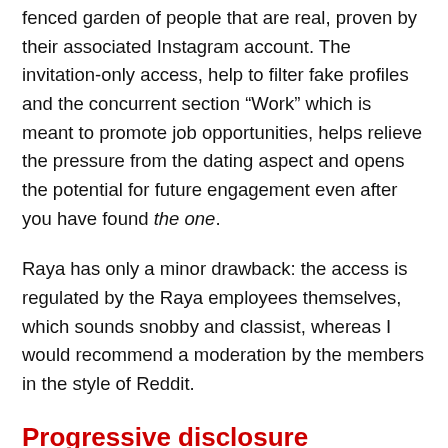fenced garden of people that are real, proven by their associated Instagram account. The invitation-only access, help to filter fake profiles and the concurrent section “Work” which is meant to promote job opportunities, helps relieve the pressure from the dating aspect and opens the potential for future engagement even after you have found the one.
Raya has only a minor drawback: the access is regulated by the Raya employees themselves, which sounds snobby and classist, whereas I would recommend a moderation by the members in the style of Reddit.
Progressive disclosure